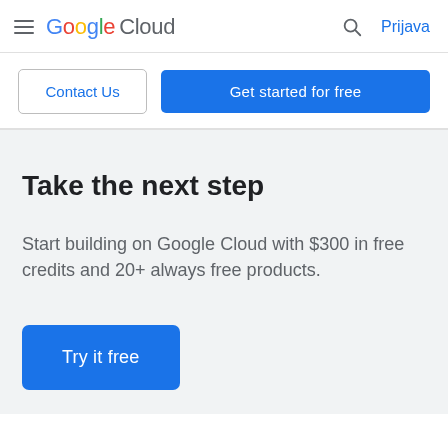Google Cloud — Prijava
Contact Us | Get started for free
Take the next step
Start building on Google Cloud with $300 in free credits and 20+ always free products.
Try it free